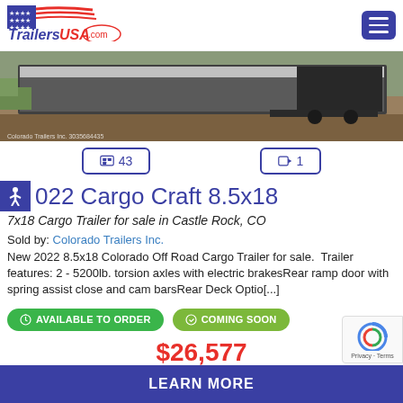[Figure (logo): TrailersUSA.com logo with American flag stars and stripes design, blue and red text]
[Figure (photo): Photo of a cargo trailer, rear/side view, parked on dirt/gravel with grass in background. Watermark: Colorado Trailers Inc. 3035684435]
📷 43   🎥 1
2022 Cargo Craft 8.5x18
7x18 Cargo Trailer for sale in Castle Rock, CO
Sold by: Colorado Trailers Inc.
New 2022 8.5x18 Colorado Off Road Cargo Trailer for sale.  Trailer features: 2 - 5200lb. torsion axles with electric brakesRear ramp door with spring assist close and cam barsRear Deck Optio[...]
AVAILABLE TO ORDER   COMING SOON
$26,577
LEARN MORE